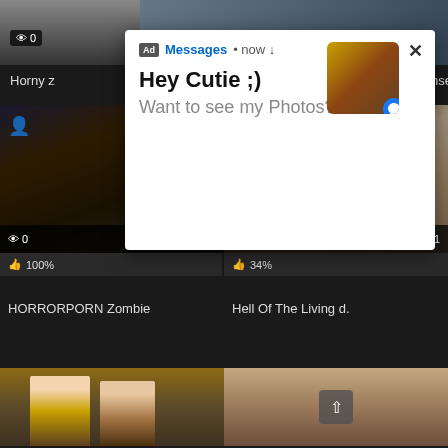[Figure (screenshot): Top strip of partially visible video thumbnails from a video streaming website]
and jizz
Have Foursome – Peta Jensen,
[Figure (screenshot): Ad overlay popup showing a Facebook Messenger style ad with text 'Hey Cutie ;) Want to see my Photos?' with a thumbnail image and close button]
[Figure (screenshot): Video thumbnail for HORRORPORN Zombie with 0 views, 07:00 duration, 100% rating]
👍 100%
HORRORPORN Zombie
[Figure (screenshot): Video thumbnail for Hell Of The Living d. with 0 views, 00:01 duration, 34% rating]
👍 34%
Hell Of The Living d.
[Figure (screenshot): Bottom row partial video thumbnails]